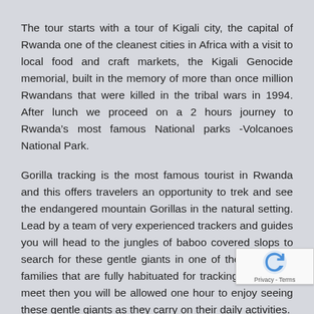The tour starts with a tour of Kigali city, the capital of Rwanda one of the cleanest cities in Africa with a visit to local food and craft markets, the Kigali Genocide memorial, built in the memory of more than once million Rwandans that were killed in the tribal wars in 1994. After lunch we proceed on a 2 hours journey to Rwanda's most famous National parks -Volcanoes National Park.
Gorilla tracking is the most famous tourist in Rwanda and this offers travelers an opportunity to trek and see the endangered mountain Gorillas in the natural setting. Lead by a team of very experienced trackers and guides you will head to the jungles of baboo covered slops to search for these gentle giants in one of the 12 Gorilla families that are fully habituated for tracking. Once you meet then you will be allowed one hour to enjoy seeing these gentle giants as they carry on their daily activities.  And because there are a limited number permits (96 permits) available at any single day its very important that you book your slot in advance to guarantee your experie...
After this unforgettable experience in Rwanda, we c... the border to Uganda to Mount Gahinga Gorilla Nat... P... ... ... ... ... Gorilla ...